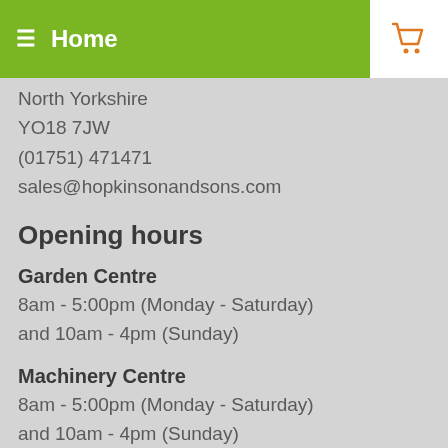Home
North Yorkshire
YO18 7JW
(01751) 471471
sales@hopkinsonandsons.com
Opening hours
Garden Centre
8am - 5:00pm (Monday - Saturday)
and 10am - 4pm (Sunday)
Machinery Centre
8am - 5:00pm (Monday - Saturday)
and 10am - 4pm (Sunday)
Cafe
9am - 4:30pm (Monday - Saturday)
and 10am - 4pm (Sunday)
Online Store / webshop